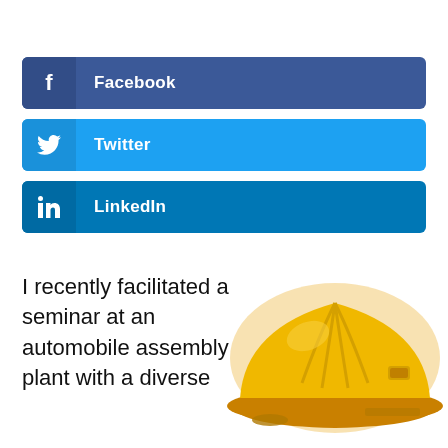[Figure (infographic): Facebook social share button with 'f' icon on dark blue background and label 'Facebook' in white bold text]
[Figure (infographic): Twitter social share button with bird icon on blue background and label 'Twitter' in white bold text]
[Figure (infographic): LinkedIn social share button with 'in' icon on medium blue background and label 'LinkedIn' in white bold text]
I recently facilitated a seminar at an automobile assembly plant with a diverse
[Figure (photo): Yellow construction hard hat on white background]